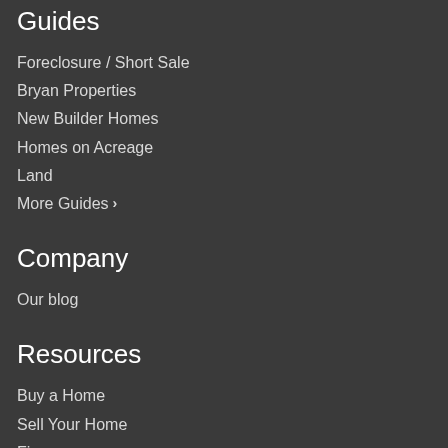Guides
Foreclosure / Short Sale
Bryan Properties
New Builder Homes
Homes on Acreage
Land
More Guides >
Company
Our blog
Resources
Buy a Home
Sell Your Home
Finance
Get Social
[Figure (illustration): Orange circle social media icon, partially visible at bottom of page]